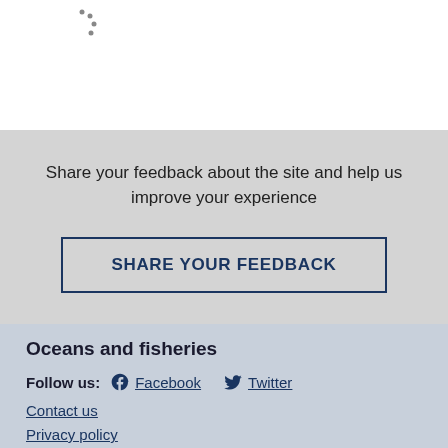[Figure (logo): Partial logo with dots/arc pattern visible at top left]
Share your feedback about the site and help us improve your experience
SHARE YOUR FEEDBACK
Oceans and fisheries
Follow us: Facebook Twitter
Contact us
Privacy policy